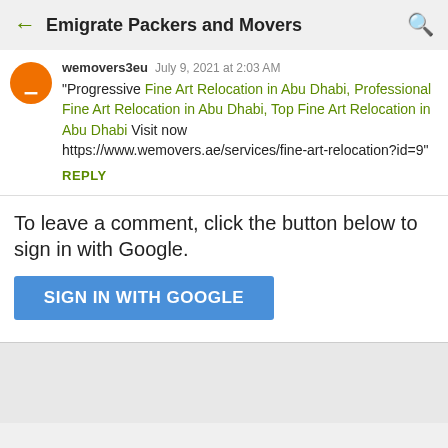Emigrate Packers and Movers
wemovers3eu  July 9, 2021 at 2:03 AM
"Progressive Fine Art Relocation in Abu Dhabi, Professional Fine Art Relocation in Abu Dhabi, Top Fine Art Relocation in Abu Dhabi Visit now https://www.wemovers.ae/services/fine-art-relocation?id=9"
REPLY
To leave a comment, click the button below to sign in with Google.
SIGN IN WITH GOOGLE